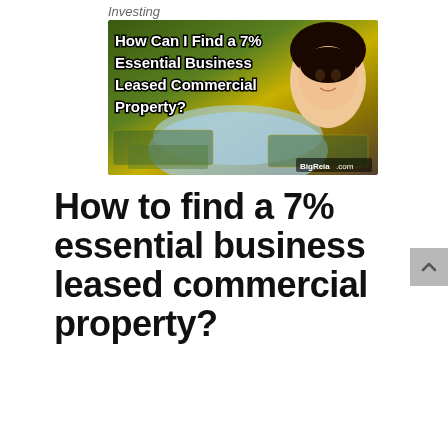Investing
[Figure (photo): Thumbnail image with text overlay reading 'How Can I Find a 7% Essential Business Leased Commercial Property?' on a background of dollar bills with a face mask, featuring a woman with dark hair and BigReia.com branding.]
How to find a 7% essential business leased commercial property?